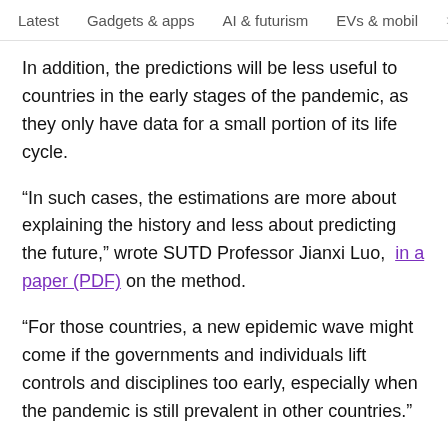Latest   Gadgets & apps   AI & futurism   EVs & mobil  >
In addition, the predictions will be less useful to countries in the early stages of the pandemic, as they only have data for a small portion of its life cycle.
“In such cases, the estimations are more about explaining the history and less about predicting the future,” wrote SUTD Professor Jianxi Luo,  in a paper (PDF) on the method.
“For those countries, a new epidemic wave might come if the governments and individuals lift controls and disciplines too early, especially when the pandemic is still prevalent in other countries.”
He nonetheless believes the predictions can